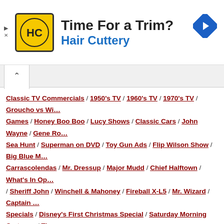[Figure (infographic): Hair Cuttery advertisement banner with logo and 'Time For a Trim?' headline, navigation arrow icon on right]
Classic TV Commercials / 1950's TV / 1960's TV / 1970's TV / Groucho vs Wi... Games / Honey Boo Boo / Lucy Shows / Classic Cars / John Wayne / Gene Ro... Sea Hunt / Superman on DVD / Toy Gun Ads / Flip Wilson Show / Big Blue M... Carrascolendas / Mr. Dressup / Major Mudd / Chief Halftown / What's In Op... / Sheriff John / Winchell & Mahoney / Fireball X-L5 / Mr. Wizard / Captain ... Specials / Disney's First Christmas Special / Saturday Morning Cartoons / Th... the Night Visitors / Holiday Toy Commercials / Lucy & Desi's Last Christma... Fat Albert / The Virginian / Bewitched / Death of John Wayne / 1974 Saturda... McCann / Rudolph Collectables / Shrimpenstein / Local Popeye Shows / New... TV Shows / 1967 TV Shows / 1968 TV Shows / Ric Flair, Dusty Rhodes & Bal... / Red Skelton / Star Wars / KISS / Lancelot Link / Saturday Morning Cartoo... Wonder Woman / Classic Comic Books / Andy Griffith / Cher / TV Shows on... / 1967 TV Shows / Romper Room / ABC Movie of the Week / The Goldbergs ... Saturday Morning Commercials / Captain Kangaroo / Chicago Local Kiddie... Philly Local TV / NYC Local Kid Shows / Amos 'n' Andy / Electric Company... Garland / Christmas Specials / Redd Foxx / Good Times / Sitcom Houses / W... Dink & You / Sonny & Cher / Smothers Brothers / Commercial Icons of the... Soupy Sales / The Carpenters / Route 66 / Bozo / The Carpenters Christmas...